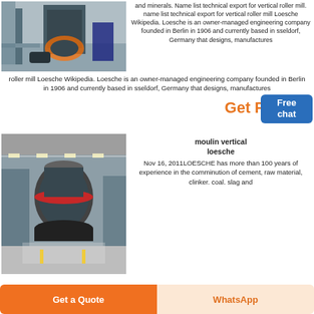[Figure (photo): Industrial machinery/roller mill equipment in a factory setting, viewed from side]
and minerals. Name list technical export for vertical roller mill. name list technical export for vertical roller mill Loesche Wikipedia. Loesche is an owner-managed engineering company founded in Berlin in 1906 and currently based in sseldorf, Germany that designs, manufactures
Get P
Free
chat
[Figure (photo): Large vertical roller mill machine inside an industrial warehouse/factory hall]
moulin vertical loesche
Nov 16, 2011LOESCHE has more than 100 years of experience in the comminution of cement, raw material, clinker. coal. slag and
Get a Quote
WhatsApp